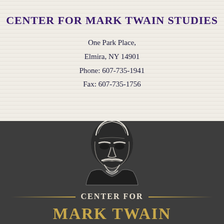CENTER FOR MARK TWAIN STUDIES
One Park Place,
Elmira, NY 14901
Phone: 607-735-1941
Fax: 607-735-1756
[Figure (logo): Illustrated portrait of Mark Twain (white engraving style on dark background) with 'CENTER FOR' text below and partial 'MARK TWAIN' text at bottom in gold lettering]